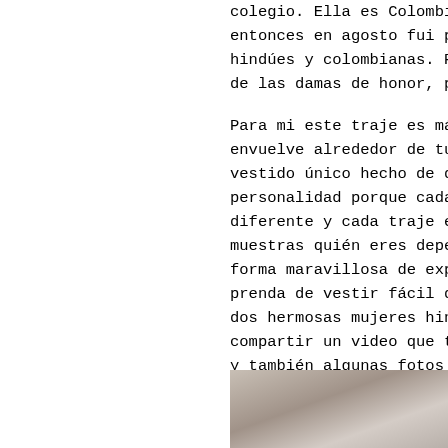colegio. Ella es Colombiana y entonces en agosto fui parte hindúes y colombianas. Para l de las damas de honor, pude p Para mi este traje es más que envuelve alrededor de tu cuer vestido único hecho de detall personalidad porque cada colo diferente y cada traje es par muestras quién eres dependien forma maravillosa de expresar prenda de vestir fácil de pon dos hermosas mujeres hindúes. compartir un video que te ens y también algunas fotos de mi
[Figure (photo): Partial photo visible at bottom right of page, showing a person, cropped]